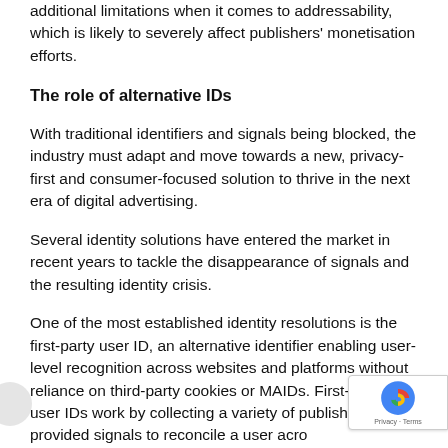additional limitations when it comes to addressability, which is likely to severely affect publishers' monetisation efforts.
The role of alternative IDs
With traditional identifiers and signals being blocked, the industry must adapt and move towards a new, privacy-first and consumer-focused solution to thrive in the next era of digital advertising.
Several identity solutions have entered the market in recent years to tackle the disappearance of signals and the resulting identity crisis.
One of the most established identity resolutions is the first-party user ID, an alternative identifier enabling user-level recognition across websites and platforms without reliance on third-party cookies or MAIDs. First-party user IDs work by collecting a variety of publisher-provided signals to reconcile a user across